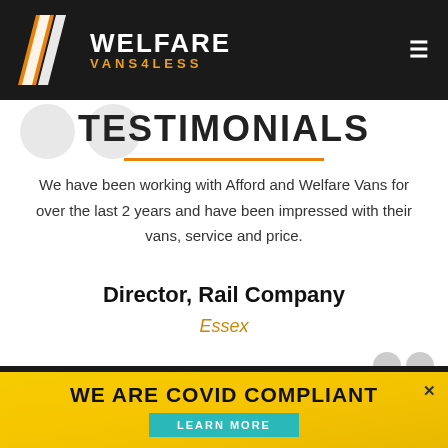WELFARE VANS4LESS
TESTIMONIALS
We have been working with Afford and Welfare Vans for over the last 2 years and have been impressed with their vans, service and price.
Director, Rail Company
Essex
WE ARE COVID COMPLIANT
LEARN MORE